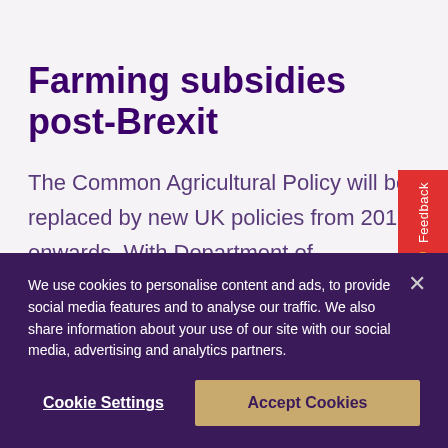Farming subsidies post-Brexit
The Common Agricultural Policy will be replaced by new UK policies from 2019 onwards. With Department of Environmental Food & Rural Affairs (DEFRA) talking of a need to 'earn' support
We use cookies to personalise content and ads, to provide social media features and to analyse our traffic. We also share information about your use of our site with our social media, advertising and analytics partners.
Cookie Settings
Accept Cookies